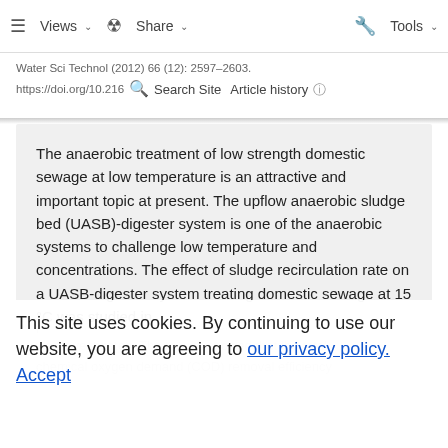Views  Share  Tools
Water Sci Technol (2012) 66 (12): 2597–2603. https://doi.org/10.216... Search Site  Article history
The anaerobic treatment of low strength domestic sewage at low temperature is an attractive and important topic at present. The upflow anaerobic sludge bed (UASB)-digester system is one of the anaerobic systems to challenge low temperature and concentrations. The effect of sludge recirculation rate on a UASB-digester system treating domestic sewage at 15 °C was studied in
This site uses cookies. By continuing to use our website, you are agreeing to our privacy policy. Accept